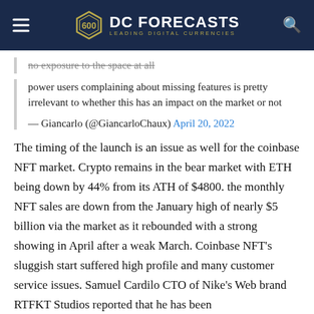DC FORECASTS — LEADING DIGITAL CURRENCIES
no exposure to the space at all
power users complaining about missing features is pretty irrelevant to whether this has an impact on the market or not
— Giancarlo (@GiancarloChaux) April 20, 2022
The timing of the launch is an issue as well for the coinbase NFT market. Crypto remains in the bear market with ETH being down by 44% from its ATH of $4800. the monthly NFT sales are down from the January high of nearly $5 billion via the market as it rebounded with a strong showing in April after a weak March. Coinbase NFT's sluggish start suffered high profile and many customer service issues. Samuel Cardilo CTO of Nike's Web brand RTFKT Studios reported that he has been